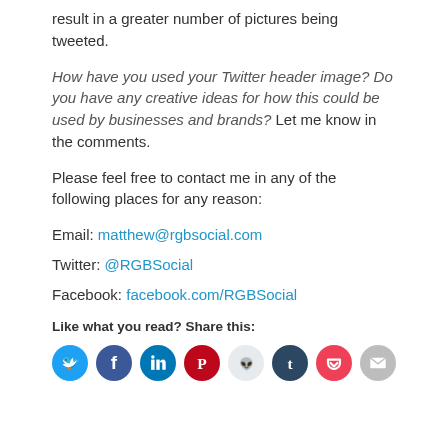result in a greater number of pictures being tweeted.
How have you used your Twitter header image? Do you have any creative ideas for how this could be used by businesses and brands? Let me know in the comments.
Please feel free to contact me in any of the following places for any reason:
Email: matthew@rgbsocial.com
Twitter: @RGBSocial
Facebook: facebook.com/RGBSocial
Like what you read? Share this:
[Figure (infographic): Row of 8 circular social sharing buttons: Twitter (blue), Facebook (blue), LinkedIn (teal), Pinterest (red), Reddit (light blue/gray), Tumblr (dark navy), Pocket (red), Email (gray)]